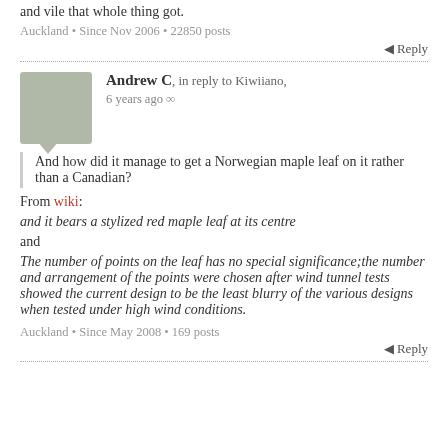and vile that whole thing got.
Auckland • Since Nov 2006 • 22850 posts
Reply
Andrew C, in reply to Kiwiiano, 6 years ago ∞
And how did it manage to get a Norwegian maple leaf on it rather than a Canadian?
From wiki:
and it bears a stylized red maple leaf at its centre
and
The number of points on the leaf has no special significance;the number and arrangement of the points were chosen after wind tunnel tests showed the current design to be the least blurry of the various designs when tested under high wind conditions.
Auckland • Since May 2008 • 169 posts
Reply